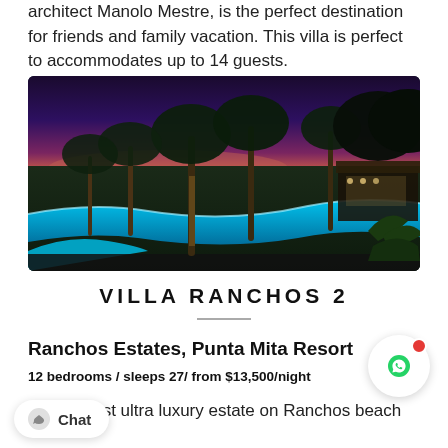architect Manolo Mestre, is the perfect destination for friends and family vacation. This villa is perfect to accommodates up to 14 guests.
[Figure (photo): Night-time photograph of a luxury villa with an illuminated curved swimming pool surrounded by palm trees and tropical vegetation, with a purple-pink sunset sky in the background and a lit pavilion structure on the right.]
VILLA RANCHOS 2
Ranchos Estates, Punta Mita Resort
12 bedrooms / sleeps 27/ from $13,500/night
The newest ultra luxury estate on Ranchos beach